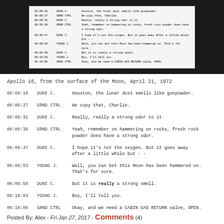[Figure (screenshot): A screenshot/scan of a transcript excerpt shown against a dark background, displaying Apollo 16 mission communication logs in small monospace text.]
Apollo 16, from the surface of the Moon, April 21, 1972
| Time | Speaker | Message |
| --- | --- | --- |
| 06:09:18 | DUKE C. | Houston, the lunar dust smells like gunpowder. |
| 06:09:27 | GRND CTRL | We copy that, Charlie. |
| 06:09:31 | DUKE C. | Really, really a strong odor to it. |
| 06:09:36 | GRND CTRL | Yeah, remember on hammering on rocks, fresh rock powder does have a strong odor. |
| 06:09:47 | DUKE C. | I hope it's not the oxygen. But it goes away after a little while but - - |
| 06:09:53 | YOUNG J. | Well, you can bet this Moon has been hammered on. That's for sure. |
| 06:09:58 | DUKE C. | But it is really a strong smell. |
| 06:10:03 | YOUNG J. | Boy, I'll tell you. |
| 06:10:06 | GRND CTRL | Okay, and we need a CABIN GAS RETURN valve, OPEN. |
Posted By: Alex - Fri Jan 27, 2017 - Comments (4)